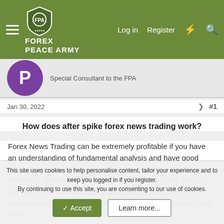FOREX PEACE ARMY — Log in | Register
Special Consultant to the FPA
Jan 30, 2022  #1
How does after spike forex news trading work?
Forex News Trading can be extremely profitable if you have an understanding of fundamental analysis and have good trade plans to benefit from price action as they unfold after an economic release. Do not worry, Forex Peace Army analyst will help you to identify high-probability tradable economic news reports and advise on the trading strategy. You can find more
This site uses cookies to help personalise content, tailor your experience and to keep you logged in if you register.
By continuing to use this site, you are consenting to our use of cookies.